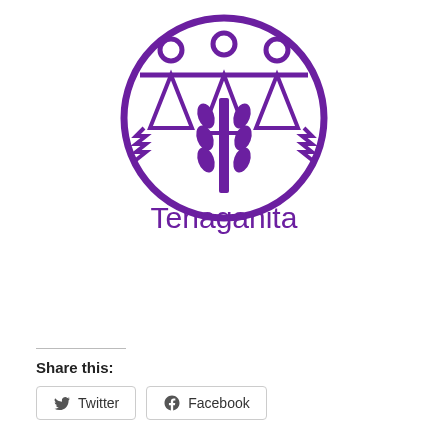[Figure (logo): Tenaganita organization logo: a purple circular emblem depicting three stylized human figures holding hands with decorative geometric and leaf patterns inside, with a corn/plant motif in the center. Below the circle is the text 'Tenaganita' in purple.]
Share this:
Twitter
Facebook